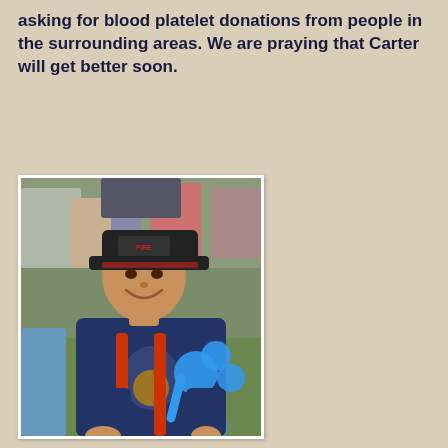asking for blood platelet donations from people in the surrounding areas. We are praying that Carter will get better soon.
[Figure (photo): A smiling middle-aged man wearing a dark blue firefighter t-shirt and a black baseball cap with red accents (reading FIRE), holding a blue balloon animal (balloon dog or similar shape). He is outdoors at what appears to be a community event with other people visible in the background.]